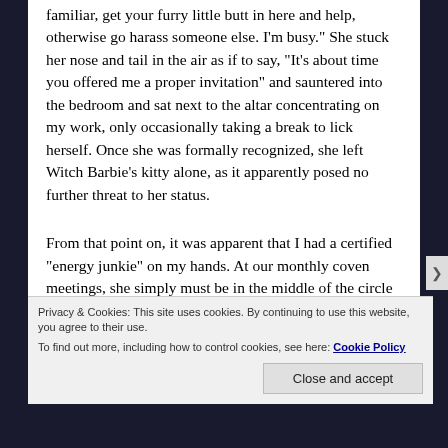familiar, get your furry little butt in here and help, otherwise go harass someone else. I'm busy." She stuck her nose and tail in the air as if to say, "It's about time you offered me a proper invitation" and sauntered into the bedroom and sat next to the altar concentrating on my work, only occasionally taking a break to lick herself. Once she was formally recognized, she left Witch Barbie's kitty alone, as it apparently posed no further threat to her status.
From that point on, it was apparent that I had a certified "energy junkie" on my hands. At our monthly coven meetings, she simply must be in the middle of the circle
Privacy & Cookies: This site uses cookies. By continuing to use this website, you agree to their use.
To find out more, including how to control cookies, see here: Cookie Policy